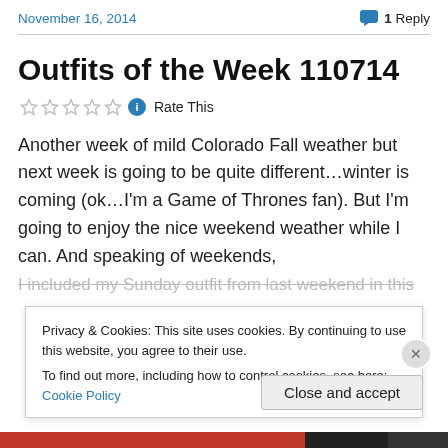November 16, 2014   1 Reply
Outfits of the Week 110714
Rate This
Another week of mild Colorado Fall weather but next week is going to be quite different…winter is coming (ok…I'm a Game of Thrones fan). But I'm going to enjoy the nice weekend weather while I can. And speaking of weekends, I included my Sunday outfit from last weekend in this
Privacy & Cookies: This site uses cookies. By continuing to use this website, you agree to their use.
To find out more, including how to control cookies, see here: Cookie Policy
Close and accept